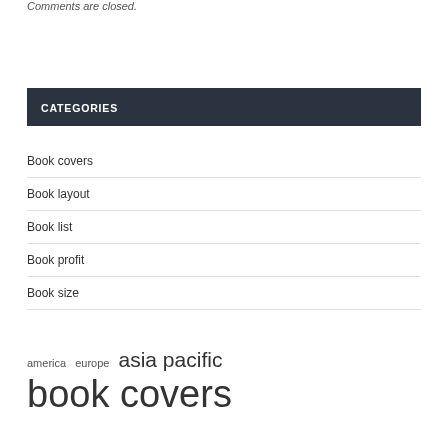Comments are closed.
CATEGORIES
Book covers
Book layout
Book list
Book profit
Book size
america europe asia pacific book covers